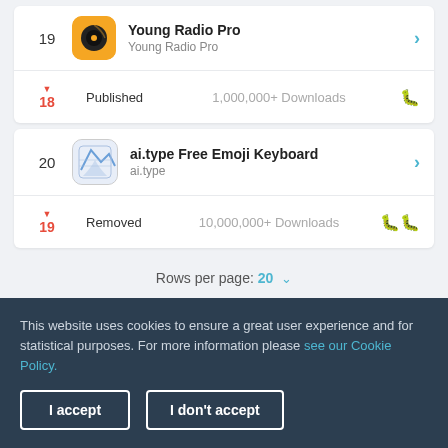| Rank | App | Status | Downloads | Issues |
| --- | --- | --- | --- | --- |
| 19 | Young Radio Pro / Young Radio Pro |  |  |  |
| ▼ 18 |  | Published | 1,000,000+ Downloads | 🐛 |
| 20 | ai.type Free Emoji Keyboard / ai.type |  |  |  |
| ▼ 19 |  | Removed | 10,000,000+ Downloads | 🐛🐛 |
Rows per page: 20 ▾
This website uses cookies to ensure a great user experience and for statistical purposes. For more information please see our Cookie Policy.
I accept
I don't accept